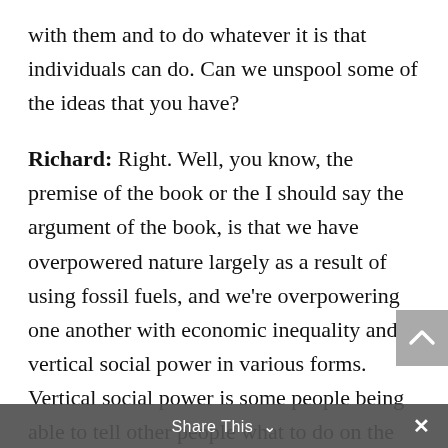with them and to do whatever it is that individuals can do. Can we unspool some of the ideas that you have?
Richard: Right. Well, you know, the premise of the book or the I should say the argument of the book, is that we have overpowered nature largely as a result of using fossil fuels, and we're overpowering one another with economic inequality and vertical social power in various forms. Vertical social power is some people being able to tell other people what to do on the basis of bribes and threats. And some of those bribes and threats are, you know
Share This ∨